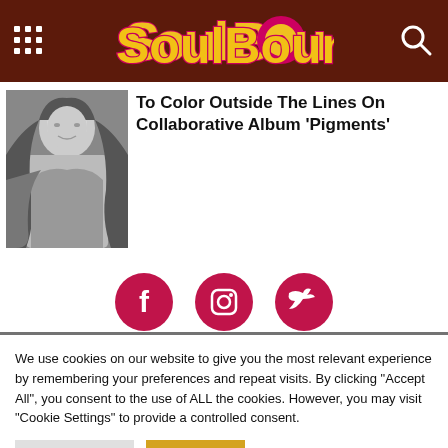SoulBounce
To Color Outside The Lines On Collaborative Album 'Pigments'
[Figure (photo): Black and white photo of a woman with long hair]
[Figure (other): Social media icons: Facebook, Instagram, Twitter (pink/crimson circles)]
We use cookies on our website to give you the most relevant experience by remembering your preferences and repeat visits. By clicking "Accept All", you consent to the use of ALL the cookies. However, you may visit "Cookie Settings" to provide a controlled consent.